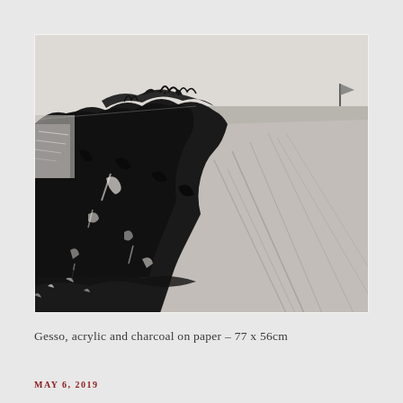[Figure (illustration): Abstract landscape painting showing dark coastal cliffs with dramatic black charcoal and gesso markings. The left side depicts dark rocky cliffs with expressive brushwork in black and grey, while the right side shows lighter grey tones suggesting a flat landscape. A small flag or marker is visible at the top right. The sky is pale grey-white.]
Gesso, acrylic and charcoal on paper – 77 x 56cm
MAY 6, 2019